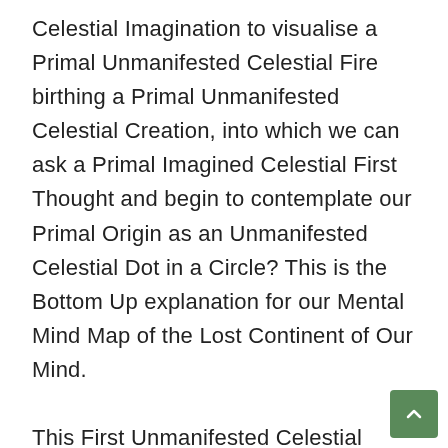Celestial Imagination to visualise a Primal Unmanifested Celestial Fire birthing a Primal Unmanifested Celestial Creation, into which we can ask a Primal Imagined Celestial First Thought and begin to contemplate our Primal Origin as an Unmanifested Celestial Dot in a Circle? This is the Bottom Up explanation for our Mental Mind Map of the Lost Continent of Our Mind.

This First Unmanifested Celestial Engra…